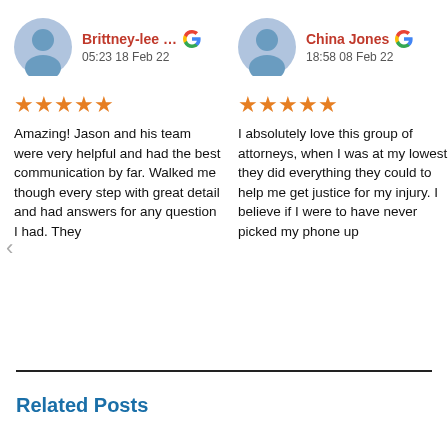Brittney-lee
05:23 18 Feb 22
★★★★★
Amazing! Jason and his team were very helpful and had the best communication by far. Walked me though every step with great detail and had answers for any question I had. They
China Jones
18:58 08 Feb 22
★★★★★
I absolutely love this group of attorneys, when I was at my lowest they did everything they could to help me get justice for my injury. I believe if I were to have never picked my phone up
Related Posts